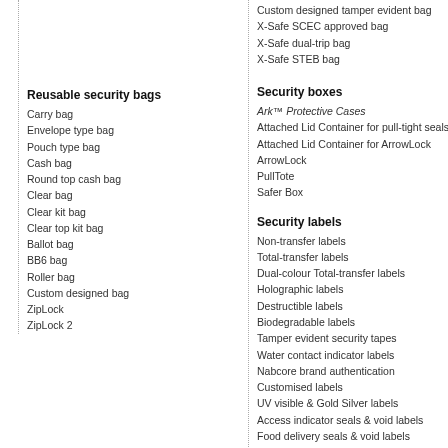Custom designed tamper evident bag
X-Safe SCEC approved bag
X-Safe dual-trip bag
X-Safe STEB bag
Reusable security bags
Carry bag
Envelope type bag
Pouch type bag
Cash bag
Round top cash bag
Clear bag
Clear kit bag
Clear top kit bag
Ballot bag
BB6 bag
Roller bag
Custom designed bag
ZipLock
ZipLock 2
Security boxes
Ark™ Protective Cases
Attached Lid Container for pull-tight seals
Attached Lid Container for ArrowLock
ArrowLock
PullTote
Safer Box
Security labels
Non-transfer labels
Total-transfer labels
Dual-colour Total-transfer labels
Holographic labels
Destructible labels
Biodegradable labels
Tamper evident security tapes
Water contact indicator labels
Nabcore brand authentication
Customised labels
UV visible & Gold Silver labels
Access indicator seals & void labels
Food delivery seals & void labels
Retail decorative seals & void labels
Colour labels